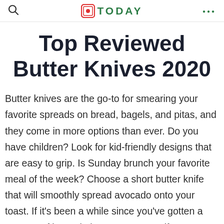TODAY
Top Reviewed Butter Knives 2020
Butter knives are the go-to for smearing your favorite spreads on bread, bagels, and pitas, and they come in more options than ever. Do you have children? Look for kid-friendly designs that are easy to grip. Is Sunday brunch your favorite meal of the week? Choose a short butter knife that will smoothly spread avocado onto your toast. If it's been a while since you've gotten a new set of butter knives, treat yourself -- your silverware drawer will thank you.